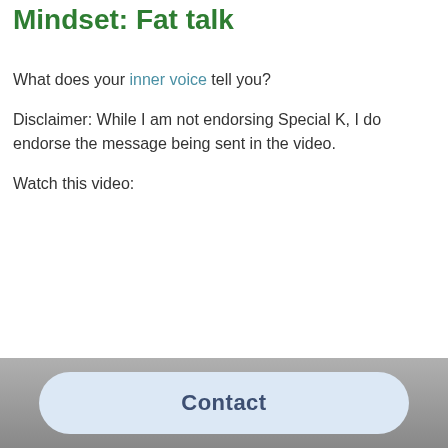Mindset: Fat talk
What does your inner voice tell you?
Disclaimer: While I am not endorsing Special K, I do endorse the message being sent in the video.
Watch this video:
Contact